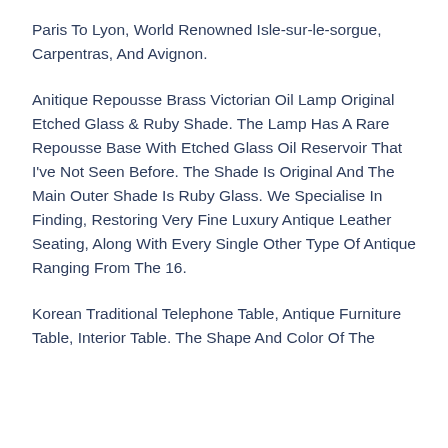Paris To Lyon, World Renowned Isle-sur-le-sorgue, Carpentras, And Avignon.
Anitique Repousse Brass Victorian Oil Lamp Original Etched Glass & Ruby Shade. The Lamp Has A Rare Repousse Base With Etched Glass Oil Reservoir That I've Not Seen Before. The Shade Is Original And The Main Outer Shade Is Ruby Glass. We Specialise In Finding, Restoring Very Fine Luxury Antique Leather Seating, Along With Every Single Other Type Of Antique Ranging From The 16.
Korean Traditional Telephone Table, Antique Furniture Table, Interior Table. The Shape And Color Of The